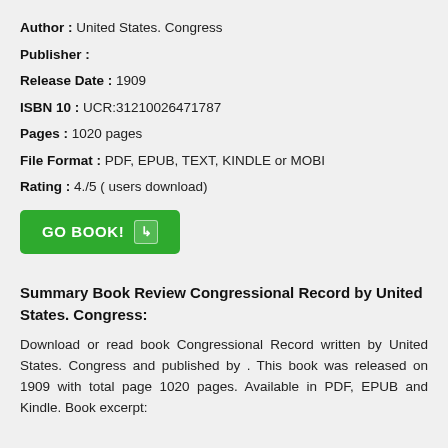Author : United States. Congress
Publisher :
Release Date : 1909
ISBN 10 : UCR:31210026471787
Pages : 1020 pages
File Format : PDF, EPUB, TEXT, KINDLE or MOBI
Rating : 4./5 ( users download)
[Figure (other): Green GO BOOK! button with arrow icon]
Summary Book Review Congressional Record by United States. Congress:
Download or read book Congressional Record written by United States. Congress and published by . This book was released on 1909 with total page 1020 pages. Available in PDF, EPUB and Kindle. Book excerpt: